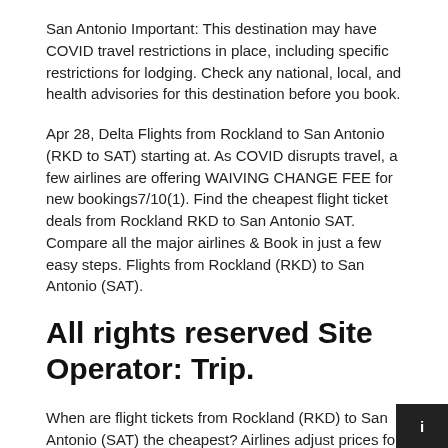San Antonio Important: This destination may have COVID travel restrictions in place, including specific restrictions for lodging. Check any national, local, and health advisories for this destination before you book.
Apr 28, Delta Flights from Rockland to San Antonio (RKD to SAT) starting at. As COVID disrupts travel, a few airlines are offering WAIVING CHANGE FEE for new bookings7/10(1). Find the cheapest flight ticket deals from Rockland RKD to San Antonio SAT. Compare all the major airlines & Book in just a few easy steps. Flights from Rockland (RKD) to San Antonio (SAT).
All rights reserved Site Operator: Trip.
When are flight tickets from Rockland (RKD) to San Antonio (SAT) the cheapest? Airlines adjust prices for flights from Rockland to San Antonio based on the date and time of your booking. By analyzing data from all airlines, on ticketbookcall.xyz, you can find the lowest flight prices on Tuesdays, Wednesdays and Saturdays. Ticket boooooo you can avoid it ticket t...